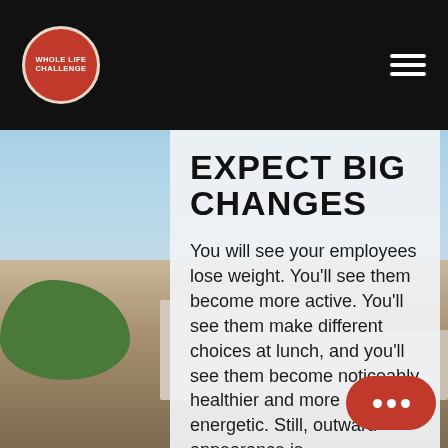[Figure (photo): Background photo of an outdoor athletic facility or sports complex with blue sky, trees, and buildings visible]
WHOLE LIFE CHALLENGE (logo with navigation hamburger menu)
EXPECT BIG CHANGES
You will see your employees lose weight. You'll see them become more active. You'll see them make different choices at lunch, and you'll see them become noticeably healthier and more energetic. Still, outward appearance is